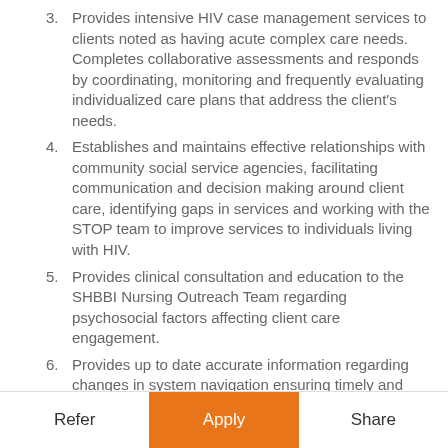3. Provides intensive HIV case management services to clients noted as having acute complex care needs. Completes collaborative assessments and responds by coordinating, monitoring and frequently evaluating individualized care plans that address the client's needs.
4. Establishes and maintains effective relationships with community social service agencies, facilitating communication and decision making around client care, identifying gaps in services and working with the STOP team to improve services to individuals living with HIV.
5. Provides clinical consultation and education to the SHBBI Nursing Outreach Team regarding psychosocial factors affecting client care engagement.
6. Provides up to date accurate information regarding changes in system navigation ensuring timely and efficient responses to client care needs, including relevant legislative systems applicable to client.
Refer | Apply | Share